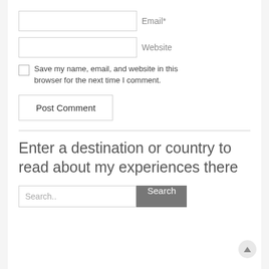Email*
Website
Save my name, email, and website in this browser for the next time I comment.
Post Comment
Enter a destination or country to read about my experiences there
Search..